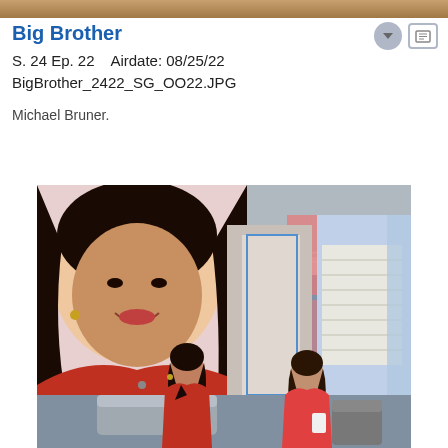[Figure (photo): Cropped top portion of a previous photo (tan/brown gradient strip)]
Big Brother
S. 24  Ep. 22    Airdate: 08/25/22
BigBrother_2422_SG_OO22.JPG
Michael Bruner.
[Figure (photo): TV studio scene showing two women seated on a couch/chairs in a colorful set. A large screen behind them displays a portrait of a smiling woman with long dark hair wearing a red top. The set has geometric metallic ceiling panels, pink and blue panels, and a decorative lattice wall. Both women are dressed in red/coral outfits.]